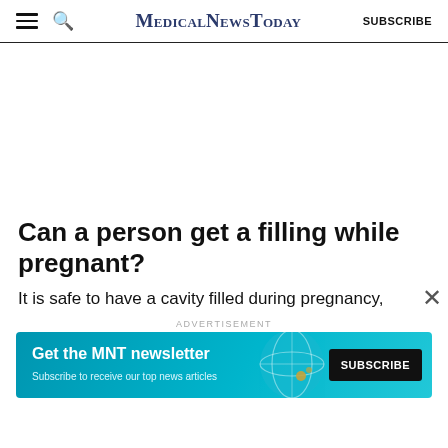MedicalNewsToday  SUBSCRIBE
Can a person get a filling while pregnant?
It is safe to have a cavity filled during pregnancy,
[Figure (other): MNT newsletter advertisement banner: 'Get the MNT newsletter – Subscribe to receive our top news articles' with a SUBSCRIBE button and decorative globe graphic on teal/blue background]